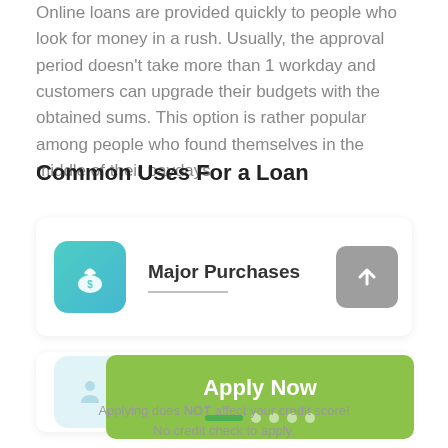Online loans are provided quickly to people who look for money in a rush. Usually, the approval period doesn't take more than 1 workday and customers can upgrade their budgets with the obtained sums. This option is rather popular among people who found themselves in the middle of their paydays.
Common Uses For a Loan
[Figure (infographic): Teal rounded square icon with a money bag and dollar sign symbol, representing Major Purchases category]
Major Purchases
[Figure (infographic): Grey rounded square button with an upward arrow, used as a navigation or scroll-up control]
[Figure (infographic): Light blue rounded square icon with a person/home improvement symbol]
Home Improvements
[Figure (infographic): Green Apply Now button overlay with progress dots indicator]
Applying does NOT affect your credit score!
No credit check to apply.